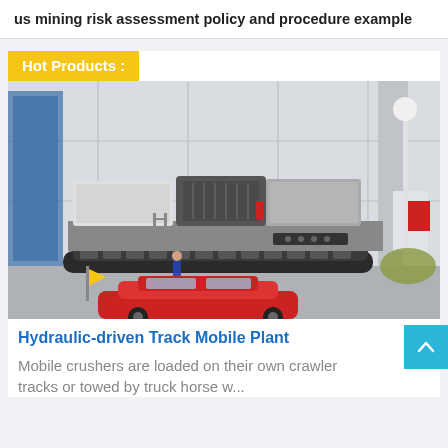us mining risk assessment policy and procedure example
Hot Products :
[Figure (photo): Hydraulic-driven track mobile crushing plant parked outside an industrial building, with a red car and a person visible in the foreground.]
Hydraulic-driven Track Mobile Plant
Mobile crushers are loaded on their own crawler tracks or towed by truck horse w...